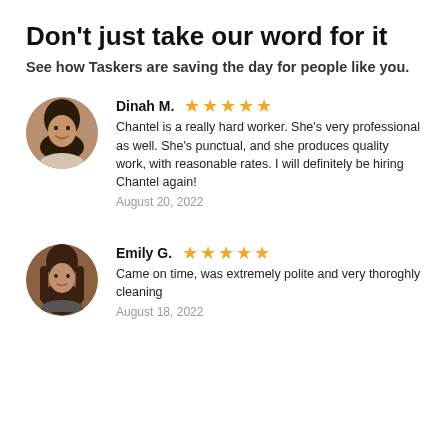Don't just take our word for it
See how Taskers are saving the day for people like you.
Dinah M. ★★★★★
Chantel is a really hard worker. She's very professional as well. She's punctual, and she produces quality work, with reasonable rates. I will definitely be hiring Chantel again!
August 20, 2022
Emily G. ★★★★★
Came on time, was extremely polite and very thoroghly cleaning
August 18, 2022